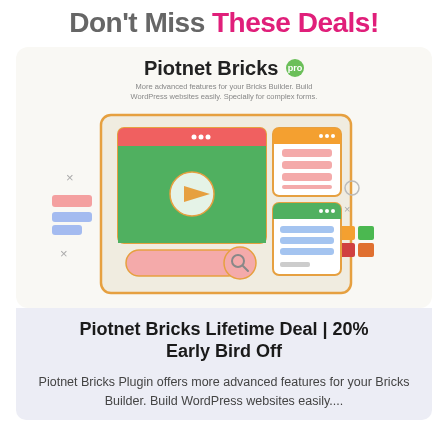Don't Miss These Deals!
[Figure (screenshot): Piotnet Bricks product card showing logo with pro badge, subtitle text, and a UI illustration with browser windows, video player, search bar, and UI components]
Piotnet Bricks Lifetime Deal | 20% Early Bird Off
Piotnet Bricks Plugin offers more advanced features for your Bricks Builder. Build WordPress websites easily....